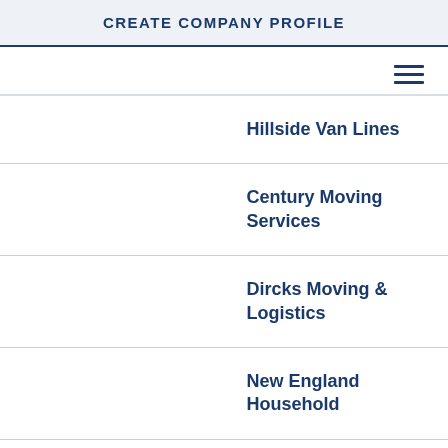CREATE COMPANY PROFILE
[Figure (other): Hamburger menu icon (three horizontal lines)]
Hillside Van Lines
Century Moving Services
Dircks Moving & Logistics
New England Household